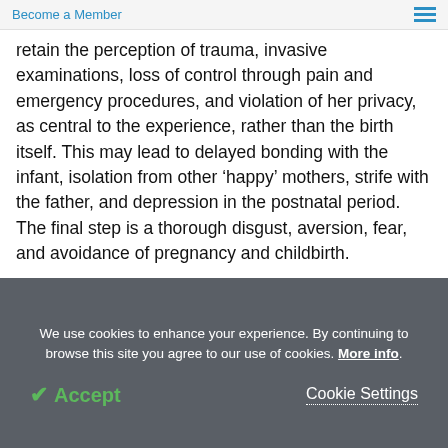Become a Member
retain the perception of trauma, invasive examinations, loss of control through pain and emergency procedures, and violation of her privacy, as central to the experience, rather than the birth itself. This may lead to delayed bonding with the infant, isolation from other ‘happy’ mothers, strife with the father, and depression in the postnatal period. The final step is a thorough disgust, aversion, fear, and avoidance of pregnancy and childbirth.
We use cookies to enhance your experience. By continuing to browse this site you agree to our use of cookies. More info.
Accept
Cookie Settings